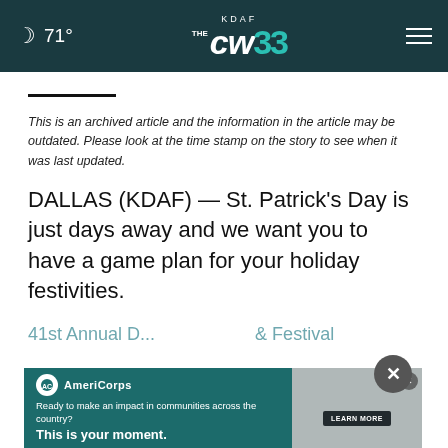71° KDAF CW33
This is an archived article and the information in the article may be outdated. Please look at the time stamp on the story to see when it was last updated.
DALLAS (KDAF) — St. Patrick's Day is just days away and we want you to have a game plan for your holiday festivities.
41st Annual D... & Festival
[Figure (screenshot): CONTINUE READING button overlay on article content]
[Figure (screenshot): AmeriCorps advertisement banner: Ready to make an impact in communities across the country? This is your moment.]